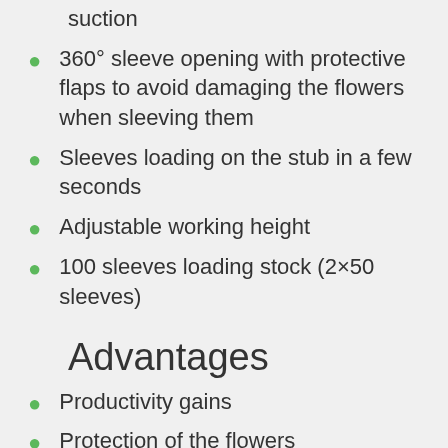suction
360° sleeve opening with protective flaps to avoid damaging the flowers when sleeving them
Sleeves loading on the stub in a few seconds
Adjustable working height
100 sleeves loading stock (2×50 sleeves)
Advantages
Productivity gains
Protection of the flowers
Mobile machine on 4 wheels